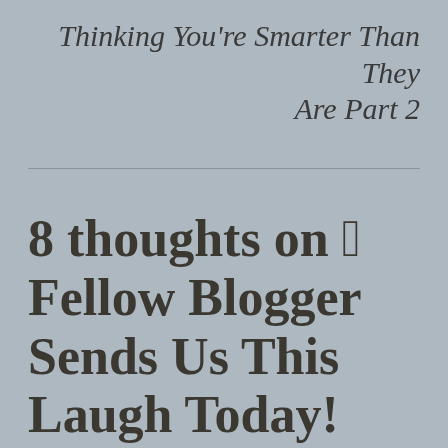Thinking You're Smarter Than They Are Part 2
8 thoughts on “A Fellow Blogger Sends Us This Laugh Today! Thanks Terry!!”